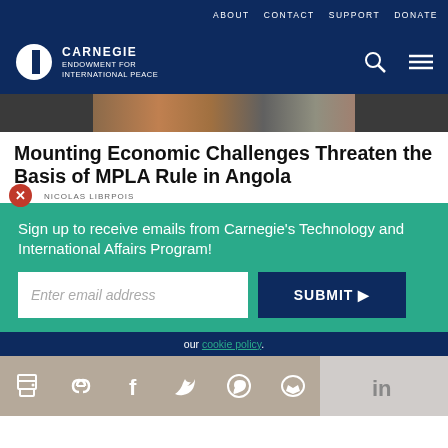ABOUT   CONTACT   SUPPORT   DONATE
[Figure (logo): Carnegie Endowment for International Peace logo - white circle with C shape on dark navy background, with text CARNEGIE ENDOWMENT FOR INTERNATIONAL PEACE]
[Figure (photo): Partial photo strip showing crowd of people]
Mounting Economic Challenges Threaten the Basis of MPLA Rule in Angola
NICOLAS LIBRPOIS
Sign up to receive emails from Carnegie's Technology and International Affairs Program!
Enter email address
SUBMIT ▶
our cookie policy.
Share icons: print, link, facebook, twitter, whatsapp, messenger, linkedin